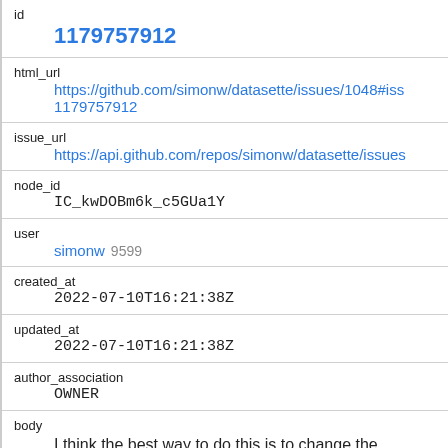| field | value |
| --- | --- |
| id | 1179757912 |
| html_url | https://github.com/simonw/datasette/issues/1048#iss
1179757912 |
| issue_url | https://api.github.com/repos/simonw/datasette/issues |
| node_id | IC_kwDOBm6k_c5GUa1Y |
| user | simonw 9599 |
| created_at | 2022-07-10T16:21:38Z |
| updated_at | 2022-07-10T16:21:38Z |
| author_association | OWNER |
| body | I think the best way to do this is to change the method signatures to:
```python |